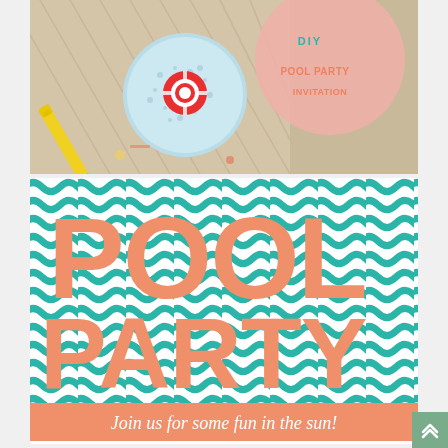[Figure (photo): Photo of DIY Pool Party Invitation craft supplies: a yellow pen, striped paper, a circular pool-float themed invitation card with a red and white life ring, and a pink circular element. Text overlay reads 'DIY POOL PARTY INVITATION' in teal/salmon colors on a pink background.]
[Figure (illustration): Pool party invitation graphic with teal wavy stripe pattern background. Large salmon/coral block letters spell 'POOL' on top row and 'PARTY' on bottom row. A salmon banner across the bottom reads 'Join us for some fun in the sun!' in white italic text.]